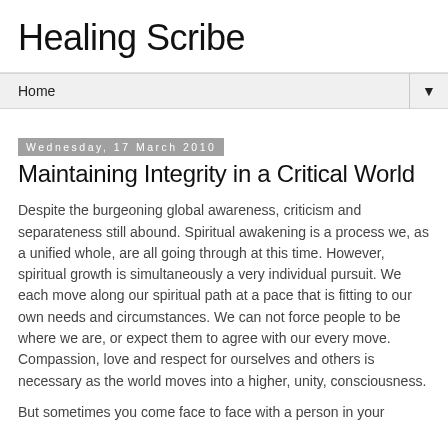Healing Scribe
Home
Wednesday, 17 March 2010
Maintaining Integrity in a Critical World
Despite the burgeoning global awareness, criticism and separateness still abound. Spiritual awakening is a process we, as a unified whole, are all going through at this time. However, spiritual growth is simultaneously a very individual pursuit. We each move along our spiritual path at a pace that is fitting to our own needs and circumstances. We can not force people to be where we are, or expect them to agree with our every move. Compassion, love and respect for ourselves and others is necessary as the world moves into a higher, unity, consciousness.
But sometimes you come face to face with a person in your